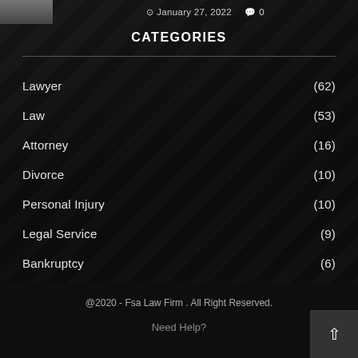[Figure (photo): Partial photo thumbnail of a person in the upper left corner]
January 27, 2022   0
CATEGORIES
Lawyer (62)
Law (53)
Attorney (16)
Divorce (10)
Personal Injury (10)
Legal Service (9)
Bankruptcy (6)
News (6)
@2020 - Fsa Law Firm . All Right Reserved.   Need Help?